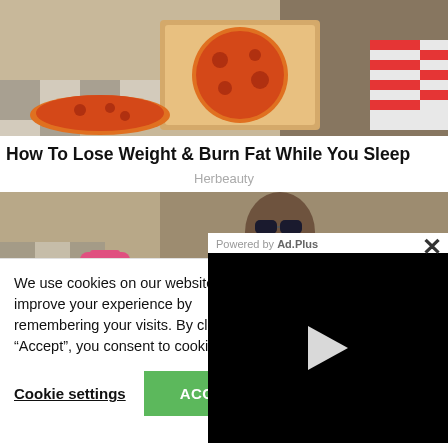[Figure (photo): Person lying on a couch holding an open pizza box, wearing red and white striped socks, with another pizza on the floor. Black and white checkered floor visible.]
How To Lose Weight & Burn Fat While You Sleep
Herbeauty
[Figure (photo): Woman wearing sunglasses eating pizza, lying on a couch with checkered floor in background.]
We use cookies on our website to improve your experience by remembering your visits. By clicking “Accept”, you consent to cookies.
Cookie settings   ACCEPT
[Figure (screenshot): Ad.Plus powered video player overlay with a play button on black background and an X close button.]